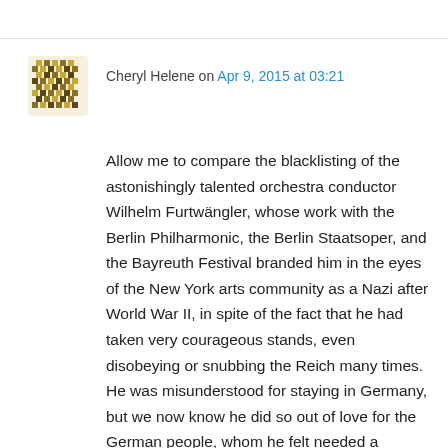Cheryl Helene on Apr 9, 2015 at 03:21
Allow me to compare the blacklisting of the astonishingly talented orchestra conductor Wilhelm Furtwängler, whose work with the Berlin Philharmonic, the Berlin Staatsoper, and the Bayreuth Festival branded him in the eyes of the New York arts community as a Nazi after World War II, in spite of the fact that he had taken very courageous stands, even disobeying or snubbing the Reich many times. He was misunderstood for staying in Germany, but we now know he did so out of love for the German people, whom he felt needed a spiritual, musical lifeline in a society dehumanized by fascism. In